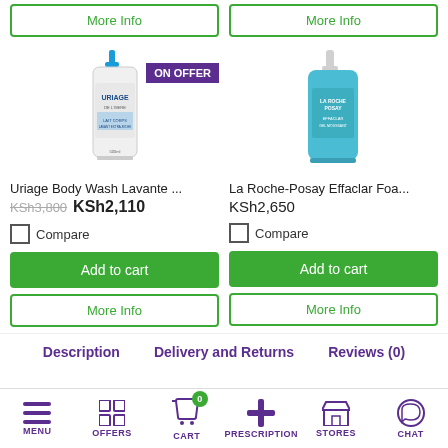[Figure (screenshot): Two 'More Info' buttons at top of page, green bordered]
[Figure (photo): Uriage Body Wash Lavante product bottle with 'ON OFFER' purple badge]
[Figure (photo): La Roche-Posay Effaclar Foaming Gel product bottle]
Uriage Body Wash Lavante ...
KSh3,800 KSh2,110
Compare
Add to cart
More Info
La Roche-Posay Effaclar Foa...
KSh2,650
Compare
Add to cart
More Info
Description
Delivery and Returns
Reviews (0)
MENU  OFFERS  CART  PRESCRIPTION  STORES  CHAT